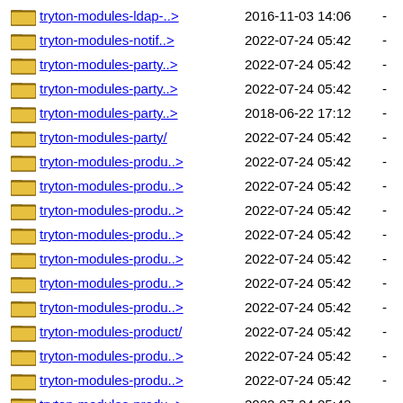tryton-modules-ldap-..> 2016-11-03 14:06 -
tryton-modules-notif..> 2022-07-24 05:42 -
tryton-modules-party..> 2022-07-24 05:42 -
tryton-modules-party..> 2022-07-24 05:42 -
tryton-modules-party..> 2018-06-22 17:12 -
tryton-modules-party/ 2022-07-24 05:42 -
tryton-modules-produ..> 2022-07-24 05:42 -
tryton-modules-produ..> 2022-07-24 05:42 -
tryton-modules-produ..> 2022-07-24 05:42 -
tryton-modules-produ..> 2022-07-24 05:42 -
tryton-modules-produ..> 2022-07-24 05:42 -
tryton-modules-produ..> 2022-07-24 05:42 -
tryton-modules-produ..> 2022-07-24 05:42 -
tryton-modules-product/ 2022-07-24 05:42 -
tryton-modules-produ..> 2022-07-24 05:42 -
tryton-modules-produ..> 2022-07-24 05:42 -
tryton-modules-produ..> 2022-07-24 05:42 -
tryton-modules-proje..> 2022-07-24 05:42 -